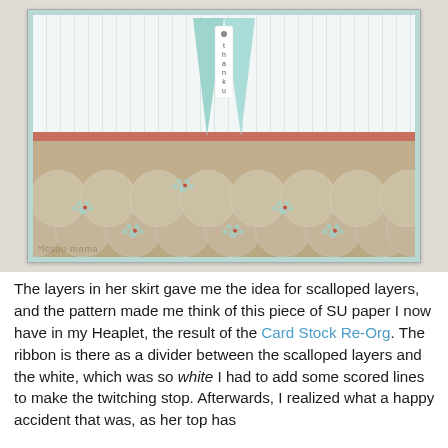[Figure (photo): A handmade greeting card featuring scalloped kraft paper layers at the bottom, a salmon/orange ribbon stripe divider, white beadboard pattern at the top, and a mint/aqua folded tag with 'thank u' text in the center. The card has a light blue border. Watermark reads 'lesumama' at bottom left.]
The layers in her skirt gave me the idea for scalloped layers, and the pattern made me think of this piece of SU paper I now have in my Heaplet, the result of the Card Stock Re-Org. The ribbon is there as a divider between the scalloped layers and the white, which was so white I had to add some scored lines to make the twitching stop. Afterwards, I realized what a happy accident that was, as her top has